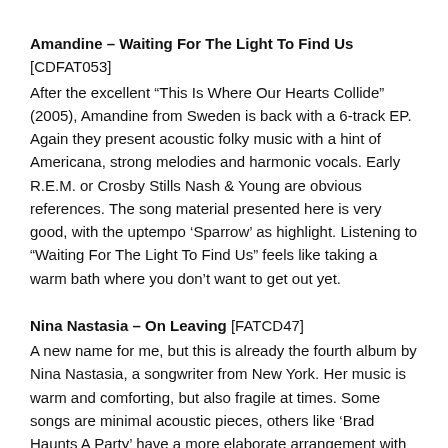Amandine – Waiting For The Light To Find Us [CDFAT053] After the excellent “This Is Where Our Hearts Collide” (2005), Amandine from Sweden is back with a 6-track EP. Again they present acoustic folky music with a hint of Americana, strong melodies and harmonic vocals. Early R.E.M. or Crosby Stills Nash & Young are obvious references. The song material presented here is very good, with the uptempo ‘Sparrow’ as highlight. Listening to “Waiting For The Light To Find Us” feels like taking a warm bath where you don’t want to get out yet.
Nina Nastasia – On Leaving [FATCD47] A new name for me, but this is already the fourth album by Nina Nastasia, a songwriter from New York. Her music is warm and comforting, but also fragile at times. Some songs are minimal acoustic pieces, others like ‘Brad Haunts A Party’ have a more elaborate arrangement with piano and strings. Nina has a nice voice, the songs quickly feel familiar and the album evokes quite some subtle emotions. An artist to follow.